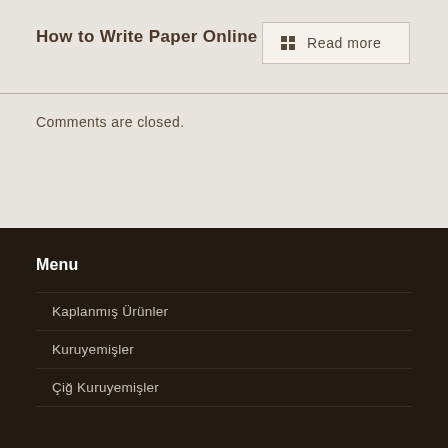How to Write Paper Online
Read more
Comments are closed.
Menu
Kaplanmış Ürünler
Kuruyemişler
Çiğ Kuruyemişler